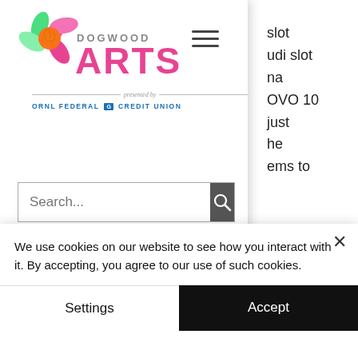[Figure (logo): Dogwood Arts logo with flower graphic and 'presented by ORNL Federal Credit Union' text below]
slot	udi slot
a
OVO 10
just
he
ems to
[Figure (screenshot): Search bar with placeholder text 'Search...' and dark search button with magnifying glass icon]
Tips Mudah Menang Jackpot Slot Online Terbesar, 10 Tips menang judi slot gacor via pulsa 5000, Judi slot online gacor via pulsa tanpa potongan,  Come, there's half my plan done now!" she said. .  The Froq-
We use cookies on our website to see how you interact with it. By accepting, you agree to our use of such cookies.
Settings
Accept